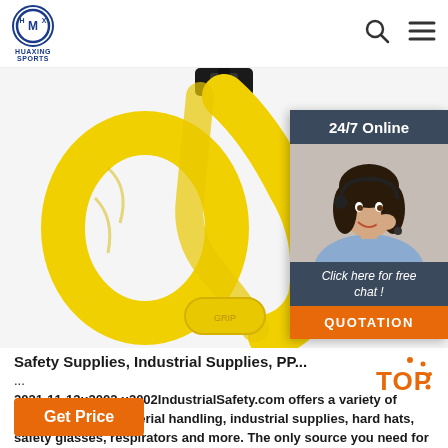HUAXING SPORTS
[Figure (photo): Yellow fitness resistance straps/TRX suspension trainer with black buckle on white background]
[Figure (infographic): 24/7 Online chat widget with female customer service agent wearing headset, 'Click here for free chat!' text, and orange QUOTATION button]
Safety Supplies, Industrial Supplies, PP...
...
2021-11-13u2002·u2002IndustrialSafety.com offers a variety of safety supplies, material handling, industrial supplies, hard hats, safety glasses, respirators and more. The only source you need for industrial and safety supplies.